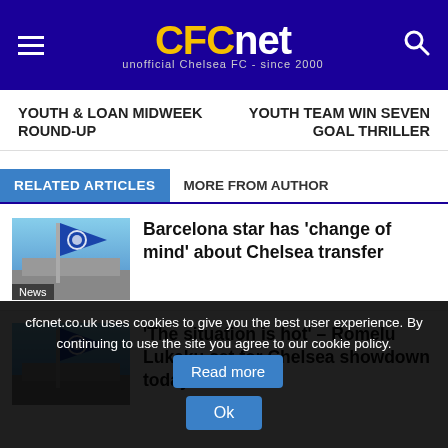CFCnet - unofficial Chelsea FC - since 2000
YOUTH & LOAN MIDWEEK ROUND-UP
YOUTH TEAM WIN SEVEN GOAL THRILLER
RELATED ARTICLES | MORE FROM AUTHOR
[Figure (photo): Chelsea FC flag against blue sky, with stadium in background. Tagged: News]
Barcelona star has ‘change of mind’ about Chelsea transfer
[Figure (photo): Chelsea FC flag against blue sky, with stadium in background.]
‘The situation is hot’ – Romelu Lukaku set for Chelsea showdown today
cfcnet.co.uk uses cookies to give you the best user experience. By continuing to use the site you agree to our cookie policy. Read more Ok